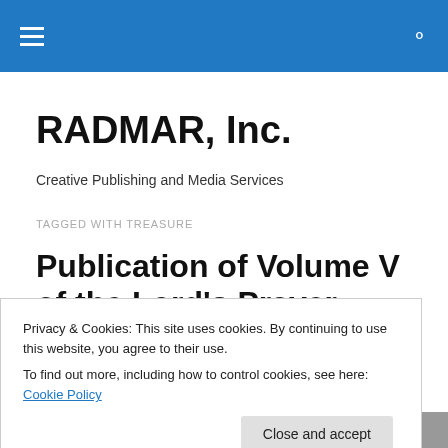RADMAR, Inc. [nav bar with hamburger menu and search icon]
RADMAR, Inc.
Creative Publishing and Media Services
TAGGED WITH TREASURE
Publication of Volume V of the Lord's Prayer Mystery Series
Privacy & Cookies: This site uses cookies. By continuing to use this website, you agree to their use. To find out more, including how to control cookies, see here: Cookie Policy
[Figure (photo): Partial bottom image strip showing what appears to be a book or document photo in blue/grey tones]